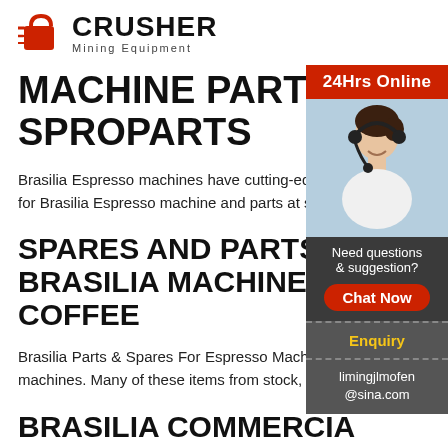[Figure (logo): Crusher Mining Equipment logo with red shopping bag icon and bold CRUSHER text]
MACHINE PARTS | SPROPARTS
Brasilia Espresso machines have cutting-edge systems for the specific needs of your hotel, cafe or restaurant. Shop for Brasilia Espresso machine and parts at spropart…
SPARES AND PARTS FOR BRASILIA MACHINES | COFFEE
Brasilia Parts & Spares For Espresso Machines. range of the most common Brasilia parts and sp… espresso coffee machines. Many of these items from stock, and other more specialist parts are available in 24 - 48 hours.
[Figure (photo): Woman with headset smiling, customer support agent photo]
BRASILIA COMMERCIAL COFFEE MACHINE SPARE…